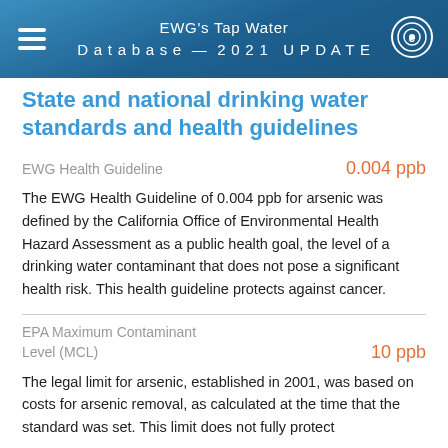EWG's Tap Water Database — 2021 UPDATE
State and national drinking water standards and health guidelines
EWG Health Guideline	0.004 ppb
The EWG Health Guideline of 0.004 ppb for arsenic was defined by the California Office of Environmental Health Hazard Assessment as a public health goal, the level of a drinking water contaminant that does not pose a significant health risk. This health guideline protects against cancer.
EPA Maximum Contaminant Level (MCL)	10 ppb
The legal limit for arsenic, established in 2001, was based on costs for arsenic removal, as calculated at the time that the standard was set. This limit does not fully protect